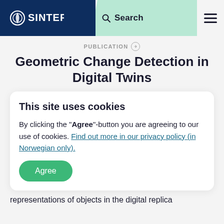SINTEF | Search
PUBLICATION
Geometric Change Detection in Digital Twins
This site uses cookies
By clicking the "Agree"-button you are agreeing to our use of cookies. Find out more in our privacy policy (in Norwegian only).
Agree
representations of objects in the digital replica